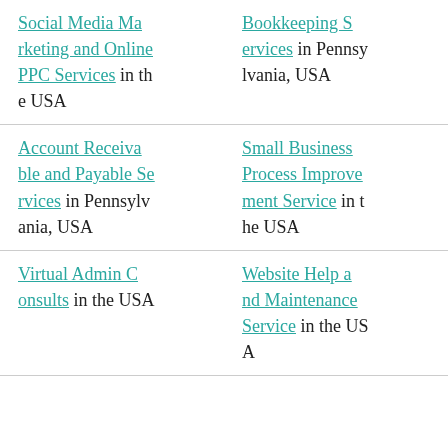Social Media Marketing and Online PPC Services in the USA
Bookkeeping Services in Pennsylvania, USA
Account Receivable and Payable Services in Pennsylvania, USA
Small Business Process Improvement Service in the USA
Virtual Admin Consults in the USA
Website Help and Maintenance Service in the USA